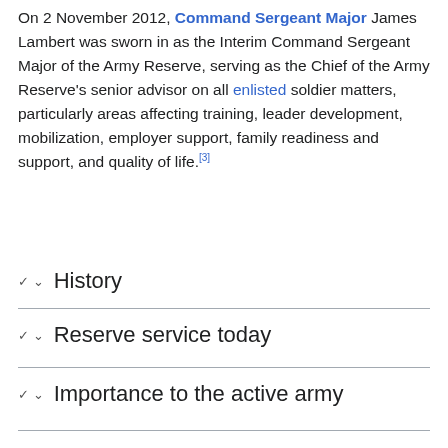On 2 November 2012, Command Sergeant Major James Lambert was sworn in as the Interim Command Sergeant Major of the Army Reserve, serving as the Chief of the Army Reserve's senior advisor on all enlisted soldier matters, particularly areas affecting training, leader development, mobilization, employer support, family readiness and support, and quality of life.[3]
History
Reserve service today
Importance to the active army